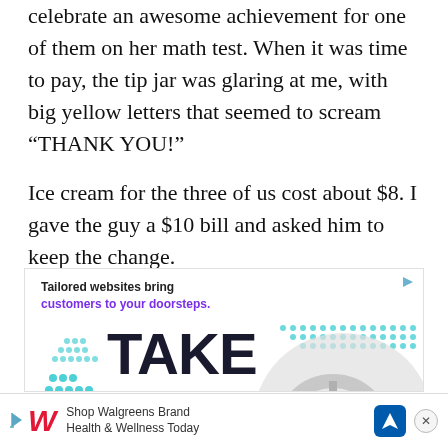celebrate an awesome achievement for one of them on her math test. When it was time to pay, the tip jar was glaring at me, with big yellow letters that seemed to scream “THANK YOU!”
Ice cream for the three of us cost about $8. I gave the guy a $10 bill and asked him to keep the change.
[Figure (infographic): Advertisement: 'Tailored websites bring customers to your doorsteps.' with large text reading 'TAKE THE LEAD.' and an image of hands on a steering wheel with teal dot patterns.]
[Figure (infographic): Walgreens bottom advertisement bar: 'Shop Walgreens Brand Health & Wellness Today' with Walgreens logo, blue navigation icon, and close button.]